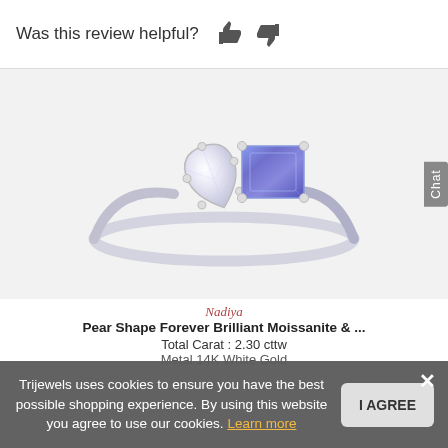Was this review helpful? 👍 👎
[Figure (photo): A two-stone ring featuring a pear-shaped white moissanite stone and an emerald-cut blue/violet tanzanite stone set together on a slim white gold band, displayed on a light gray background.]
Chat
Trijewels uses cookies to ensure you have the best possible shopping experience. By using this website you agree to use our cookies. Learn more
I AGREE
Nadiya
Pear Shape Forever Brilliant Moissanite & ...
Total Carat : 2.30 cttw
Metal 14K White Gold